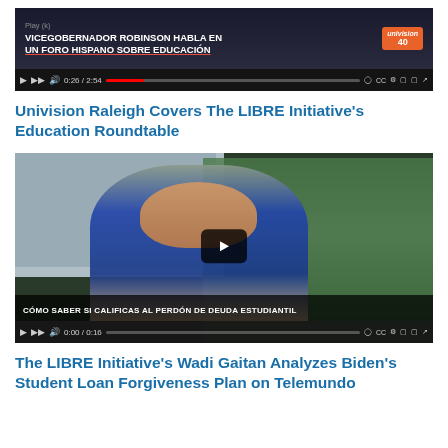[Figure (screenshot): Video thumbnail of Univision news broadcast showing 'VICEGOBERNADOR ROBINSON HABLA EN UN FORO HISPANO SOBRE EDUCACIÓN' with playback controls showing 0:26/2:54]
Univision Raleigh Covers The LIBRE Initiative's Education Roundtable
[Figure (screenshot): Video thumbnail showing a man in a blue suit being interviewed outdoors with caption 'CÓMO SABER SI CALIFICAS AL PERDÓN DE DEUDA ESTUDIANTIL', playback controls showing 0:00/0:16]
The LIBRE Initiative's Wadi Gaitan Analyzes Biden's Student Loan Forgiveness Plan on Telemundo